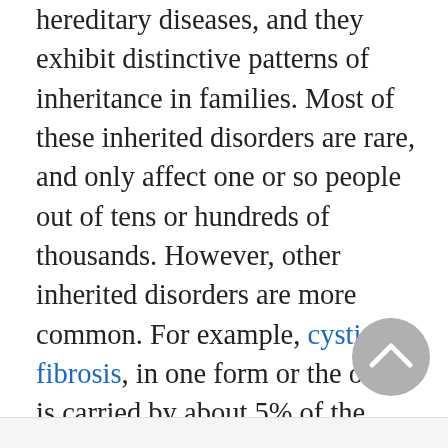hereditary diseases, and they exhibit distinctive patterns of inheritance in families. Most of these inherited disorders are rare, and only affect one or so people out of tens or hundreds of thousands. However, other inherited disorders are more common. For example, cystic fibrosis, in one form or the other, is carried by about 5% of the United States population.